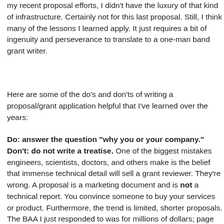my recent proposal efforts, I didn't have the luxury of that kind of infrastructure. Certainly not for this last proposal. Still, I think many of the lessons I learned apply. It just requires a bit of ingenuity and perseverance to translate to a one-man band grant writer.
Here are some of the do's and don'ts of writing a proposal/grant application helpful that I've learned over the years:
Do: answer the question "why you or your company." Don't: do not write a treatise. One of the biggest mistakes engineers, scientists, doctors, and others make is the belief that immense technical detail will sell a grant reviewer. They're wrong. A proposal is a marketing document and is not a technical report. You convince someone to buy your services or product. Furthermore, the trend is limited, shorter proposals. The BAA I just responded to was for millions of dollars; page limit of the technical section was twenty pages. Even more telling, our description of our innovation was only three pages long. The remaining seventeen pages described our approach to the problem, i.e., a mini-program plan, and a description of our capabilities. The technical description is just a portion of what you need to provide. Remember, a request for a grant or proposal is usually issued to solve a problem they can't and can't without your help. You need to convince the reviewer of the best reasons that you have the wherewithal to solve their problem. The answer is more about you as a company or a researcher. Your background, talent, and past experience and approach you're going to take. You must convince them they can trust